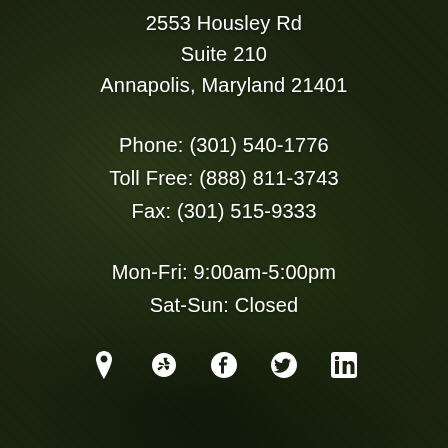2553 Housley Rd
Suite 210
Annapolis, Maryland 21401
Phone: (301) 540-1776
Toll Free: (888) 811-3743
Fax: (301) 515-9333
Mon-Fri: 9:00am-5:00pm
Sat-Sun: Closed
[Figure (infographic): Row of 5 white social media / location icons: map pin, Yelp, Facebook, Twitter, LinkedIn]